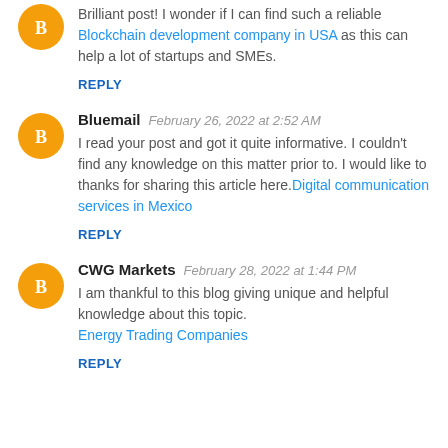Brilliant post! I wonder if I can find such a reliable Blockchain development company in USA as this can help a lot of startups and SMEs.
REPLY
Bluemail  February 26, 2022 at 2:52 AM
I read your post and got it quite informative. I couldn't find any knowledge on this matter prior to. I would like to thanks for sharing this article here. Digital communication services in Mexico
REPLY
CWG Markets  February 28, 2022 at 1:44 PM
I am thankful to this blog giving unique and helpful knowledge about this topic. Energy Trading Companies
REPLY